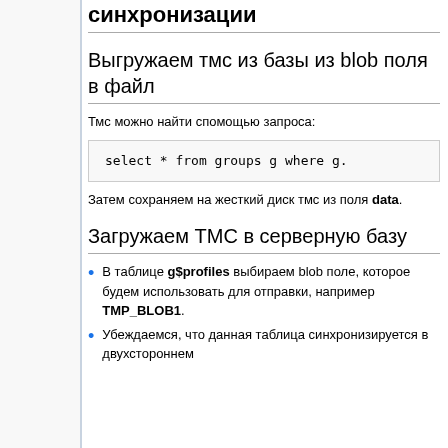синхронизации
Выгружаем тмс из базы из blob поля в файл
Тмс можно найти спомощью запроса:
Затем сохраняем на жесткий диск тмс из поля data.
Загружаем ТМС в серверную базу
В таблице g$profiles выбираем blob поле, которое будем использовать для отправки, например TMP_BLOB1.
Убеждаемся, что данная таблица синхронизируется в двухстороннем